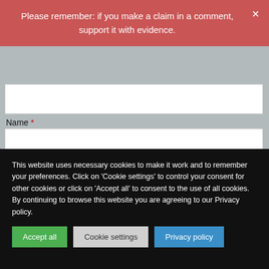Please remember: if you make a claim in a comment, support it with evidence.
Name *
Email *
Website
This website uses necessary cookies to make it work and to remember your preferences. Click on 'Cookie settings' to control your consent for other cookies or click on 'Accept all' to consent to the use of all cookies. By continuing to browse this website you are agreeing to our Privacy policy.
Accept all
Cookie settings
Privacy policy